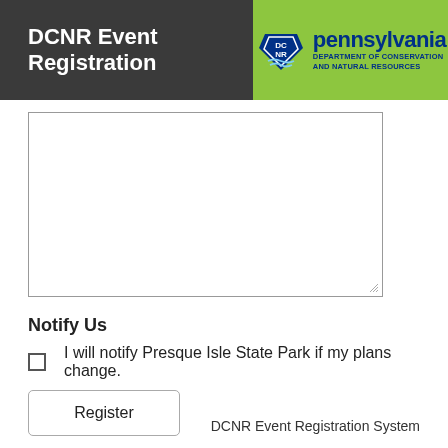DCNR Event Registration
[Figure (logo): Pennsylvania DCNR logo — green background with keystone icon and text 'pennsylvania DEPARTMENT OF CONSERVATION AND NATURAL RESOURCES']
Notify Us
I will notify Presque Isle State Park if my plans change.
Register
DCNR Event Registration System